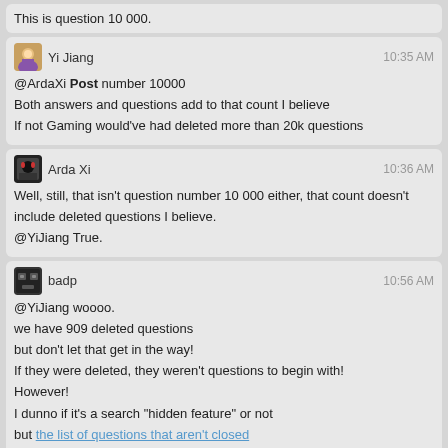This is question 10 000.
Yi Jiang 10:35 AM
@ArdaXi Post number 10000
Both answers and questions add to that count I believe
If not Gaming would've had deleted more than 20k questions
Arda Xi 10:36 AM
Well, still, that isn't question number 10 000 either, that count doesn't include deleted questions I believe.
@YiJiang True.
badp 10:56 AM
@YiJiang woooo.
we have 909 deleted questions
but don't let that get in the way!
If they were deleted, they weren't questions to begin with!
However!
I dunno if it's a search "hidden feature" or not
but the list of questions that aren't closed
gives 5,000 results precisely
@YiJiang the oldest result though is post 15875, so probably the results got capped
Yi Jiang 10:59 AM
5k +
The plus is pretty important there